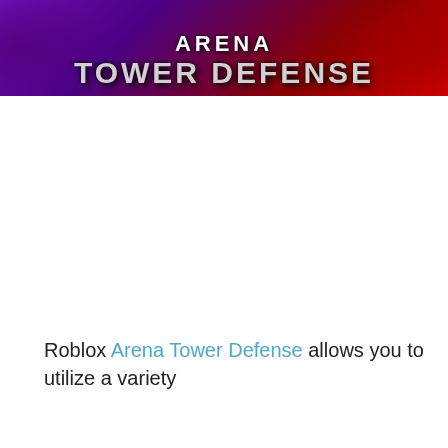[Figure (illustration): Arena Tower Defense game banner with purple and red gradient background and bold stylized text reading 'ARENA TOWER DEFENSE']
Roblox Arena Tower Defense allows you to utilize a variety